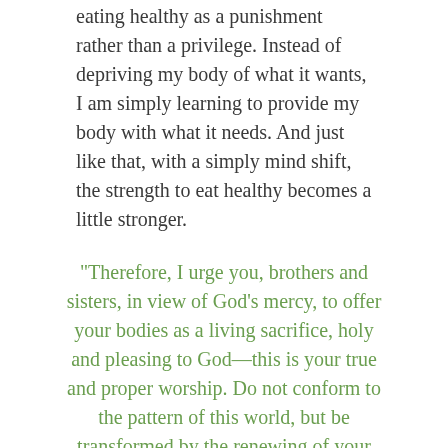eating healthy as a punishment rather than a privilege. Instead of depriving my body of what it wants, I am simply learning to provide my body with what it needs. And just like that, with a simply mind shift, the strength to eat healthy becomes a little stronger.
“Therefore, I urge you, brothers and sisters, in view of God’s mercy, to offer your bodies as a living sacrifice, holy and pleasing to God—this is your true and proper worship. Do not conform to the pattern of this world, but be transformed by the renewing of your mind. Then you will be able to test and approve what God’s will is—his good,